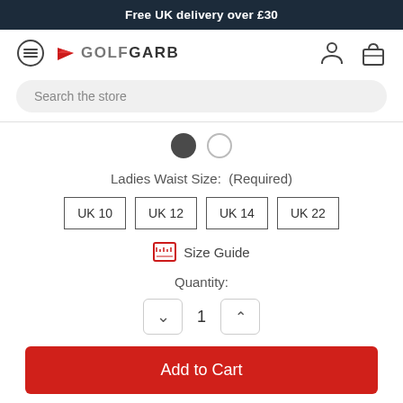Free UK delivery over £30
[Figure (logo): GolfGarb logo with red flag icon and hamburger menu, user/cart icons on the right]
Search the store
[Figure (other): Two color swatches: dark grey filled circle and white outlined circle]
Ladies Waist Size:  (Required)
UK 10
UK 12
UK 14
UK 22
Size Guide
Quantity:
1
Add to Cart